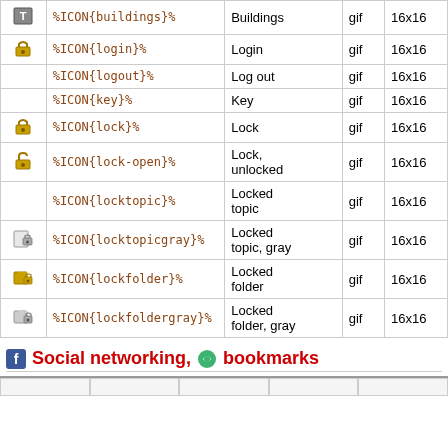|  | Syntax | Name | Type | Size |
| --- | --- | --- | --- | --- |
| [T icon] | %ICON{buildings}% | Buildings | gif | 16x16 |
| [lock icon] | %ICON{login}% | Login | gif | 16x16 |
|  | %ICON{logout}% | Log out | gif | 16x16 |
|  | %ICON{key}% | Key | gif | 16x16 |
| [lock icon] | %ICON{lock}% | Lock | gif | 16x16 |
| [lock-open icon] | %ICON{lock-open}% | Lock, unlocked | gif | 16x16 |
|  | %ICON{locktopic}% | Locked topic | gif | 16x16 |
| [locktopicgray icon] | %ICON{locktopicgray}% | Locked topic, gray | gif | 16x16 |
| [lockfolder icon] | %ICON{lockfolder}% | Locked folder | gif | 16x16 |
| [lockfoldergray icon] | %ICON{lockfoldergray}% | Locked folder, gray | gif | 16x16 |
Social networking, bookmarks